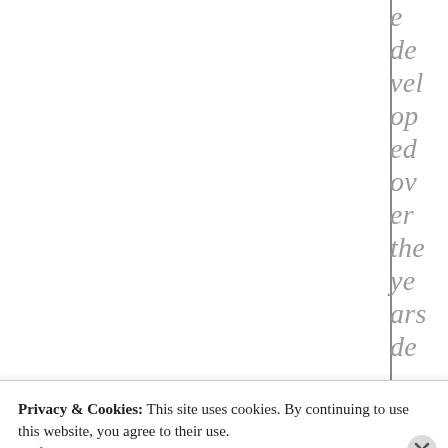e de vel op ed ov er the ye ars de
Privacy & Cookies: This site uses cookies. By continuing to use this website, you agree to their use.
To find out more, including how to control cookies, see here:
Cookie Policy
Close and accept